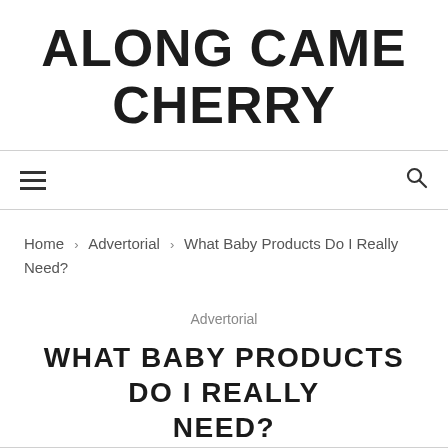ALONG CAME CHERRY
[Figure (other): Navigation bar with hamburger menu icon on the left and search icon on the right]
Home > Advertorial > What Baby Products Do I Really Need?
Advertorial
WHAT BABY PRODUCTS DO I REALLY NEED?